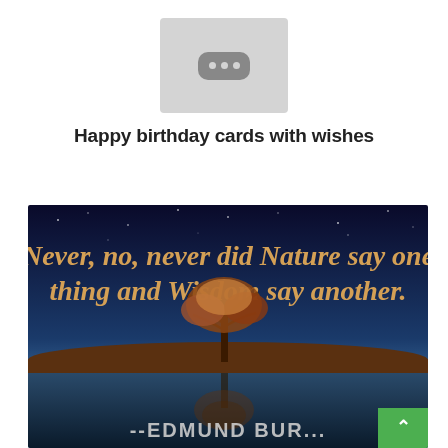[Figure (logo): Gray box with a dark gray rounded pill containing three light gray dots, resembling a media/app placeholder icon]
Happy birthday cards with wishes
[Figure (photo): Inspirational quote image with dark blue starry sky background and a lone tree reflected in water. Quote reads: 'Never, no, never did Nature say one thing and Wisdom say another.' attributed to --EDMUND BURKE. Text in orange/tan serif font. Green scroll button overlay in bottom right.]